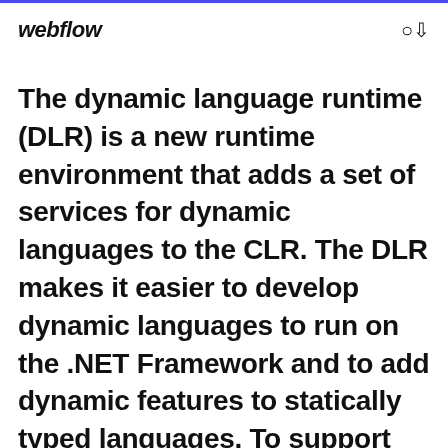webflow
The dynamic language runtime (DLR) is a new runtime environment that adds a set of services for dynamic languages to the CLR. The DLR makes it easier to develop dynamic languages to run on the .NET Framework and to add dynamic features to statically typed languages. To support the DLR, the new System Dynamic